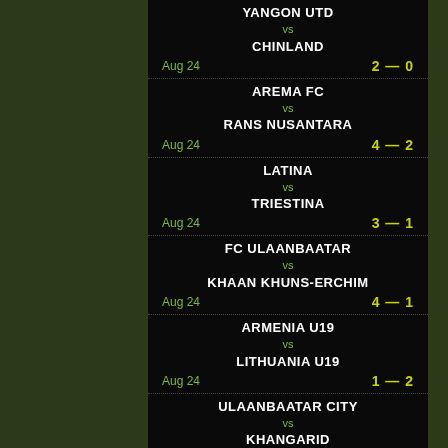YANGON UTD vs CHINLAND — Aug 24 — 2–0
AREMA FC vs RANS NUSANTARA — Aug 24 — 4–2
LATINA vs TRIESTINA — Aug 24 — 3–1
FC ULAANBAATAR vs KHAAN KHUNS-ERCHIM — Aug 24 — 4–1
ARMENIA U19 vs LITHUANIA U19 — Aug 24 — 1–2
ULAANBAATAR CITY vs KHANGARID — Aug 24 — 8–1